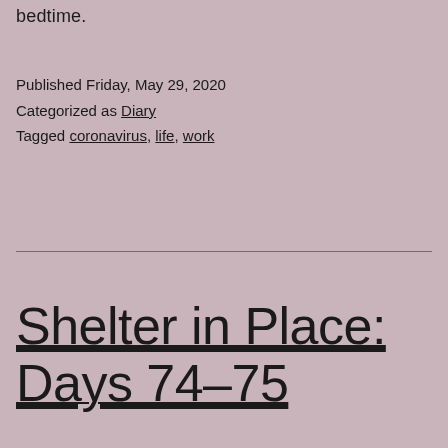bedtime.
Published Friday, May 29, 2020
Categorized as Diary
Tagged coronavirus, life, work
Shelter in Place: Days 74–75